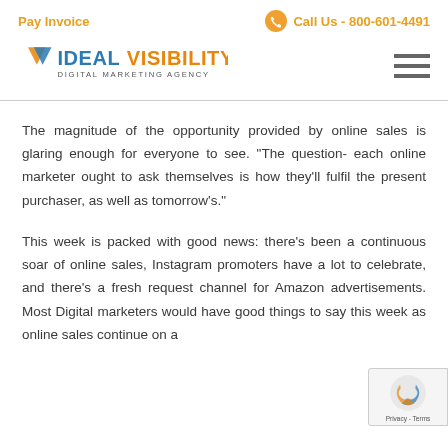Pay Invoice    Call Us - 800-601-4491
[Figure (logo): Ideal Visibility Digital Marketing Agency logo with orange V arrow icon and blue/gray text]
The magnitude of the opportunity provided by online sales is glaring enough for everyone to see. "The question- each online marketer ought to ask themselves is how they'll fulfil the present purchaser, as well as tomorrow's."
This week is packed with good news: there's been a continuous soar of online sales, Instagram promoters have a lot to celebrate, and there's a fresh request channel for Amazon advertisements. Most Digital marketers would have good things to say this week as online sales continue on a